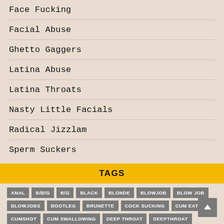Face Fucking
Facial Abuse
Ghetto Gaggers
Latina Abuse
Latina Throats
Nasty Little Facials
Radical Jizzlam
Sperm Suckers
TAGS
ANAL B/B/G B/G BLACK BLONDE BLOWJOB BLOW JOB BLOWJOBS BOOTLEG BRUNETTE COCK SUCKING CUM EATING CUMSHOT CUM SWALLOWING DEEP THROAT DEEPTHROAT DEGRADATION DEHUMANIZATION DESTROYED DP EBONY EXTREME FACE FUCKED FACE FUCKING FACEFUCKING FACIAL FACIALABUSE FACIAL ABUSE GAGGING GHETTO GAGGERS GHETTOGAGGERS HUMILIATION INTERRACIAL INTERRACIAL BLOWJOBS